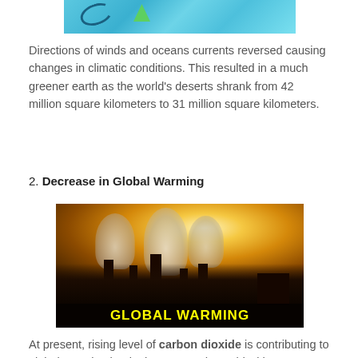[Figure (photo): Partial image at top of page showing blue sky with decorative elements]
Directions of winds and oceans currents reversed causing changes in climatic conditions. This resulted in a much greener earth as the world's deserts shrank from 42 million square kilometers to 31 million square kilometers.
2. Decrease in Global Warming
[Figure (photo): Industrial smokestacks emitting large clouds of smoke against a bright sun and orange-brown sky. Text overlay reads GLOBAL WARMING in bold yellow letters.]
At present, rising level of carbon dioxide is contributing to global warming but in the retrograde world with more trees to